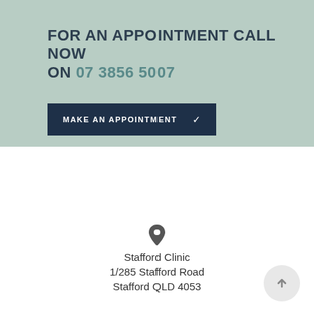FOR AN APPOINTMENT CALL NOW ON 07 3856 5007
[Figure (other): Dark navy button with text MAKE AN APPOINTMENT and a checkmark icon]
[Figure (other): Location pin icon]
Stafford Clinic
1/285 Stafford Road
Stafford QLD 4053
[Figure (other): Light grey circular button with upward arrow]